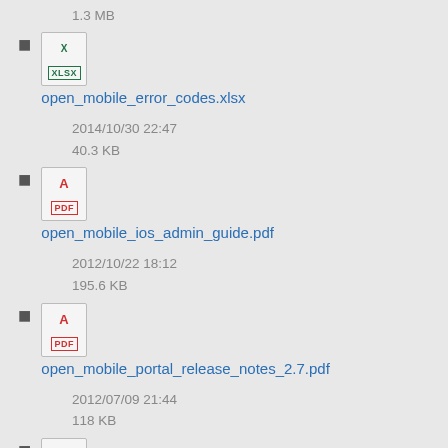1.3 MB
open_mobile_error_codes.xlsx
2014/10/30 22:47
40.3 KB
open_mobile_ios_admin_guide.pdf
2012/10/22 18:12
195.6 KB
open_mobile_portal_release_notes_2.7.pdf
2012/07/09 21:44
118 KB
open_mobile_portal_release_notes_2.8.docx